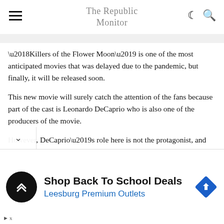The Republic Monitor
‘Killers of the Flower Moon’ is one of the most anticipated movies that was delayed due to the pandemic, but finally, it will be released soon.
This new movie will surely catch the attention of the fans because part of the cast is Leonardo DeCaprio who is also one of the producers of the movie.
However, DeCaprio’s role here is not the protagonist, and this is what makes the movie so interesting to watch
[Figure (infographic): Advertisement banner: Shop Back To School Deals - Leesburg Premium Outlets, with a black circular logo with arrows icon and a blue diamond direction sign icon.]